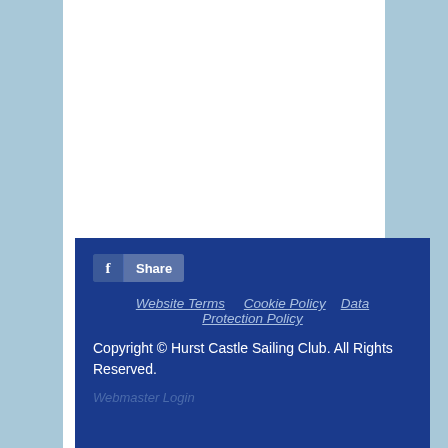[Figure (screenshot): Website footer with light blue background, white center content area, and dark navy blue footer block containing a Facebook Share button, navigation links (Website Terms, Cookie Policy, Data Protection Policy), copyright text, and Webmaster Login link.]
Share | Website Terms | Cookie Policy | Data Protection Policy | Copyright © Hurst Castle Sailing Club. All Rights Reserved. | Webmaster Login